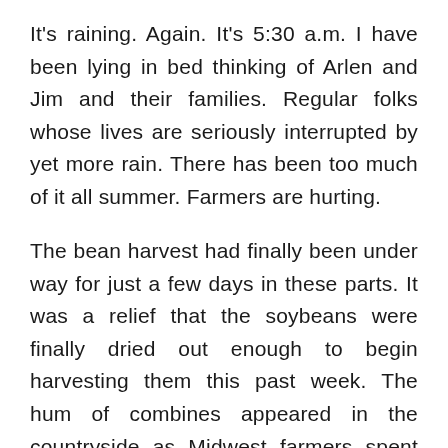It's raining. Again. It's 5:30 a.m. I have been lying in bed thinking of Arlen and Jim and their families. Regular folks whose lives are seriously interrupted by yet more rain. There has been too much of it all summer. Farmers are hurting.
The bean harvest had finally been under way for just a few days in these parts. It was a relief that the soybeans were finally dried out enough to begin harvesting them this past week. The hum of combines appeared in the countryside as Midwest farmers spent long hours bringing in their crop. The corn harvest is down the road a bit yet, but the rain is a problem for drying corn as well